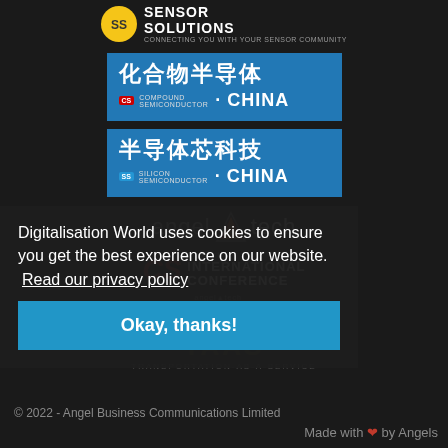[Figure (logo): SS Sensor Solutions logo with yellow circle badge]
[Figure (logo): 化合物半导体 Compound Semiconductor CHINA logo on blue background]
[Figure (logo): 半导体芯科技 Silicon Semiconductor CHINA logo on blue background]
[Figure (logo): angel tech logo with triangle icon]
[Figure (logo): CS International Conference logo]
[Figure (logo): PIC International Conference logo (faded)]
[Figure (logo): TAAS Transportation-as-a-Service logo (faded)]
Digitalisation World uses cookies to ensure you get the best experience on our website.
Read our privacy policy
Okay, thanks!
© 2022 - Angel Business Communications Limited
Made with ❤ by Angels